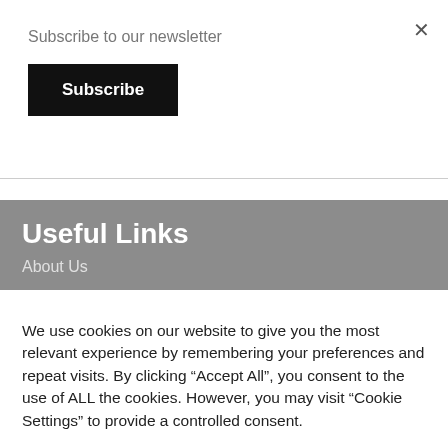Subscribe to our newsletter
Subscribe
Useful Links
About Us
We use cookies on our website to give you the most relevant experience by remembering your preferences and repeat visits. By clicking "Accept All", you consent to the use of ALL the cookies. However, you may visit "Cookie Settings" to provide a controlled consent.
Cookie Settings
Accept All